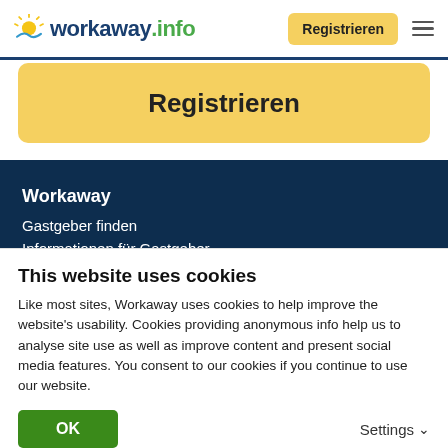[Figure (logo): Workaway.info logo with sun icon]
Registrieren (nav button)
Registrieren
Workaway
Gastgeber finden
Informationen für Gastgeber
Informationen für Workawayer
This website uses cookies
Like most sites, Workaway uses cookies to help improve the website's usability. Cookies providing anonymous info help us to analyse site use as well as improve content and present social media features.  You consent to our cookies if you continue to use our website.
OK
Settings